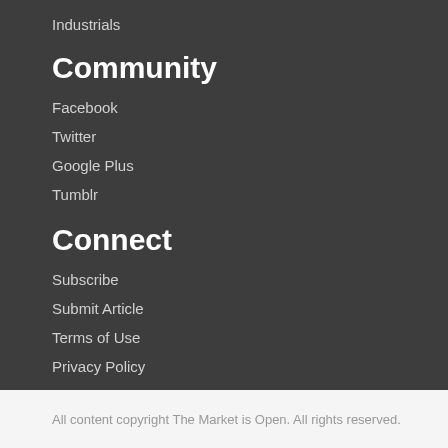Industrials
Community
Facebook
Twitter
Google Plus
Tumblr
Connect
Subscribe
Submit Article
Terms of Use
Privacy Policy
Sitemap
All content copyright The Market is Open. All rights reserved.